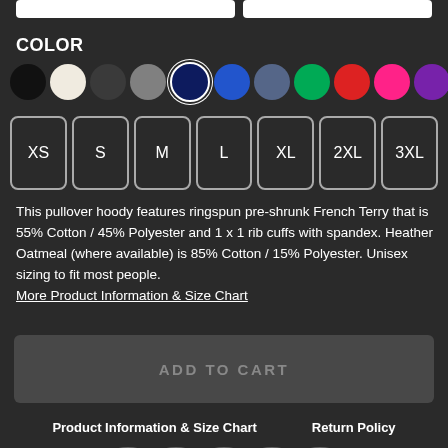COLOR
[Figure (other): Color swatch selector with 11 circular color options: black, oatmeal/cream, dark gray, gray, navy (selected with white ring), blue, slate/steel blue, green, red, hot pink, purple]
[Figure (other): Size selector buttons: XS, S, M, L, XL, 2XL, 3XL - each in a rounded rectangle button]
This pullover hoody features ringspun pre-shrunk French Terry that is 55% Cotton / 45% Polyester and 1 x 1 rib cuffs with spandex. Heather Oatmeal (where available) is 85% Cotton / 15% Polyester. Unisex sizing to fit most people.
More Product Information & Size Chart
[Figure (other): ADD TO CART button - large disabled/muted gray button]
Product Information & Size Chart     Return Policy
[Figure (other): Social media icons row - partial view at bottom: Facebook, Twitter/X, Pinterest, another icon, email icon]